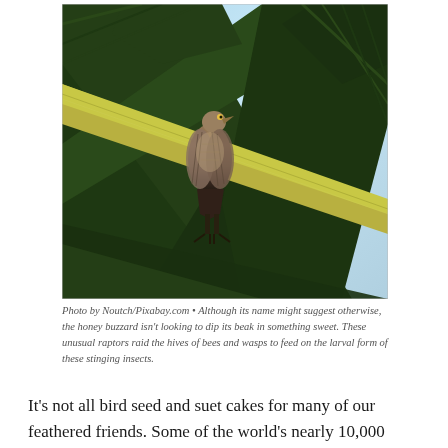[Figure (photo): A honey buzzard (bird of prey with brown plumage) perched on a palm frond, surrounded by dark green palm leaves against a bright sky background.]
Photo by Noutch/Pixabay.com • Although its name might suggest otherwise, the honey buzzard isn't looking to dip its beak in something sweet. These unusual raptors raid the hives of bees and wasps to feed on the larval form of these stinging insects.
It's not all bird seed and suet cakes for many of our feathered friends. Some of the world's nearly 10,000 species of birds show some unusual tastes when it comes to their food